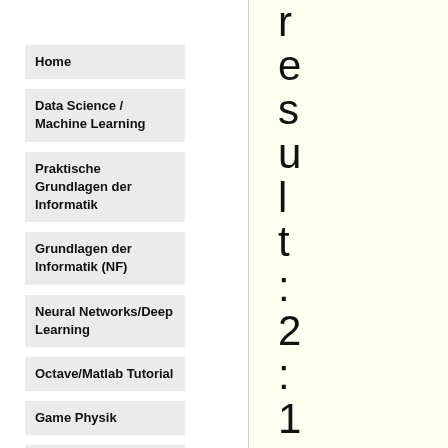Home
Data Science / Machine Learning
Praktische Grundlagen der Informatik
Grundlagen der Informatik (NF)
Neural Networks/Deep Learning
Octave/Matlab Tutorial
Game Physik
Kontakt/Impressum
result: 2:1 BayerLev